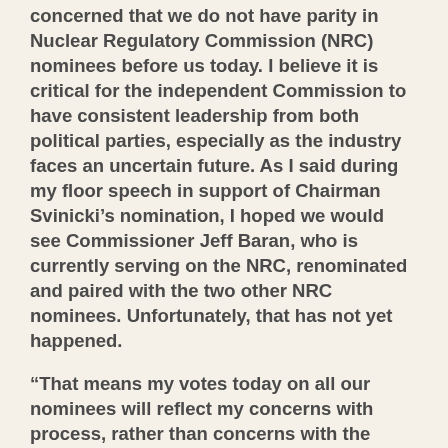concerned that we do not have parity in Nuclear Regulatory Commission (NRC) nominees before us today. I believe it is critical for the independent Commission to have consistent leadership from both political parties, especially as the industry faces an uncertain future. As I said during my floor speech in support of Chairman Svinicki’s nomination, I hoped we would see Commissioner Jeff Baran, who is currently serving on the NRC, renominated and paired with the two other NRC nominees. Unfortunately, that has not yet happened.
“That means my votes today on all our nominees will reflect my concerns with process, rather than concerns with the nominees before us today. Again, thank you Mr. Chairman for your efforts to get many of these bipartisan bills on the agenda. I hope we can continue to find areas of agreement going forward.”
###